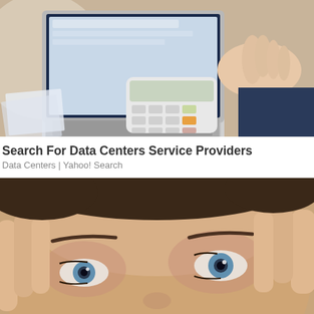[Figure (photo): Person using laptop with a calculator on desk, viewed from above/side angle]
Search For Data Centers Service Providers
Data Centers | Yahoo! Search
[Figure (photo): Close-up of a person's face with blue eyes, hands pressing temples on both sides]